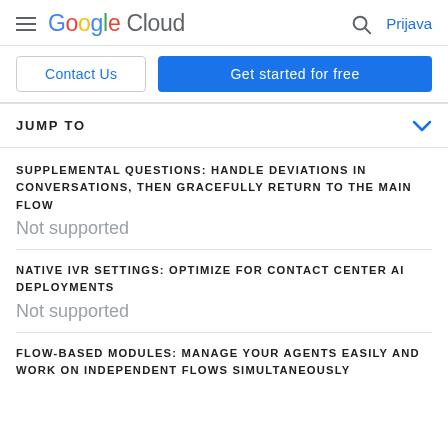Google Cloud — Prijava
Contact Us | Get started for free
JUMP TO
SUPPLEMENTAL QUESTIONS: HANDLE DEVIATIONS IN CONVERSATIONS, THEN GRACEFULLY RETURN TO THE MAIN FLOW
Not supported
NATIVE IVR SETTINGS: OPTIMIZE FOR CONTACT CENTER AI DEPLOYMENTS
Not supported
FLOW-BASED MODULES: MANAGE YOUR AGENTS EASILY AND WORK ON INDEPENDENT FLOWS SIMULTANEOUSLY